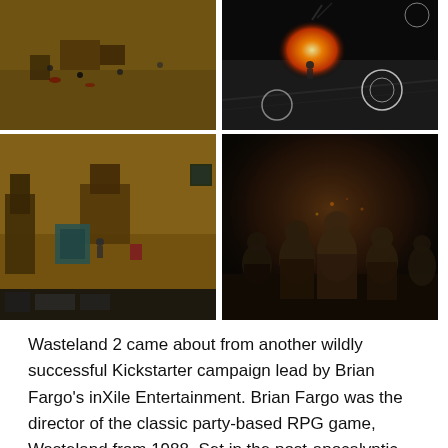[Figure (photo): Top-left game screenshot: isometric view of a post-apocalyptic battlefield with characters and structures on sandy terrain]
[Figure (photo): Top-right game screenshot: dark overhead view with fire/explosion effect and circular targeting reticles]
[Figure (photo): Bottom-left game screenshot: isometric view of a desert settlement with buildings and characters, HUD visible at bottom]
[Figure (photo): Bottom-right game screenshot/art: group of armored soldiers/rangers in dark atmospheric lighting]
Wasteland 2 came about from another wildly successful Kickstarter campaign lead by Brian Fargo's inXile Entertainment. Brian Fargo was the director of the classic party-based RPG game, Wasteland from 1988. Set in the post-apocalyptic United States in the year 2102. The story picks up 15 years after the events of the original Wasteland. The Rangers now use the Guardian Citadel as their base after the defeat of the